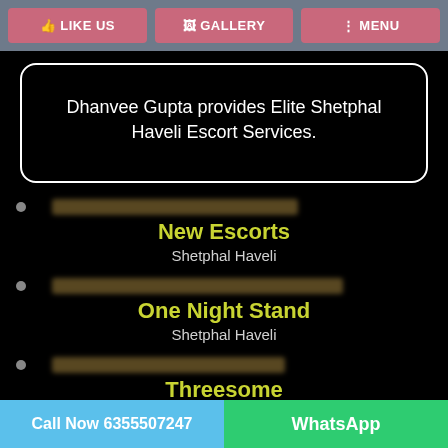LIKE US | GALLERY | MENU
Dhanvee Gupta provides Elite Shetphal Haveli Escort Services.
[blurred link]
New Escorts
Shetphal Haveli
[blurred link]
One Night Stand
Shetphal Haveli
[blurred link]
Threesome
Call Now 6355507247 | WhatsApp